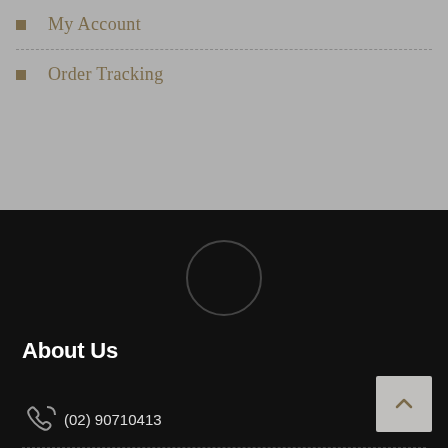My Account
Order Tracking
[Figure (illustration): Circular logo or spinner outline centered in dark footer area]
About Us
(02) 90710413
713 Black Springs Rd, Budgee Budgee, NSW 2800 Australia